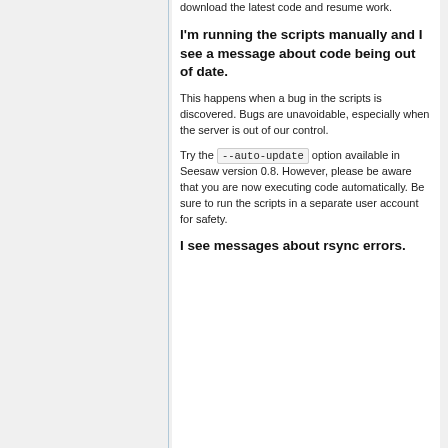download the latest code and resume work.
I'm running the scripts manually and I see a message about code being out of date.
This happens when a bug in the scripts is discovered. Bugs are unavoidable, especially when the server is out of our control.
Try the --auto-update option available in Seesaw version 0.8. However, please be aware that you are now executing code automatically. Be sure to run the scripts in a separate user account for safety.
I see messages about rsync errors.